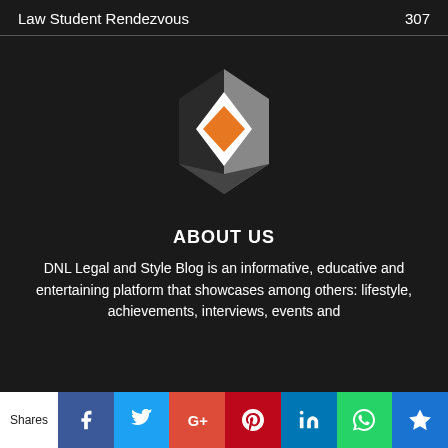Law Student Rendezvous  307
[Figure (logo): 3D geometric hexagon logo with orange diamond shape in center on dark background]
ABOUT US
DNL Legal and Style Blog is an informative, educative and entertaining platform that showcases among others: lifestyle, achievements, interviews, events and
Shares | Facebook | Twitter | Google+ | Pinterest | LinkedIn | WhatsApp | [bookmark]